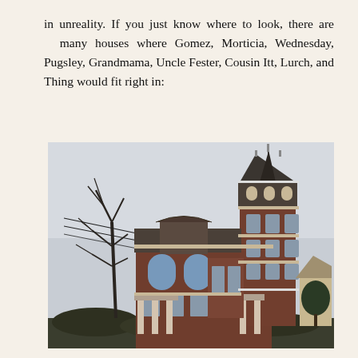in unreality. If you just know where to look, there are many houses where Gomez, Morticia, Wednesday, Pugsley, Grandmama, Uncle Fester, Cousin Itt, Lurch, and Thing would fit right in:
[Figure (photo): A large Victorian-era brick mansion with a tall ornate tower, arched windows, decorative cornices, columned porch, and mansard roof. A bare tree stands to the left. Overcast sky.]